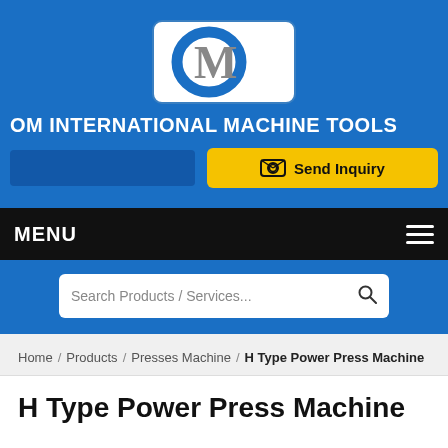[Figure (logo): OM International Machine Tools logo — white rounded rectangle with blue O and grey M letters]
OM INTERNATIONAL MACHINE TOOLS
Send Inquiry
MENU
Search Products / Services...
Home / Products / Presses Machine / H Type Power Press Machine
H Type Power Press Machine